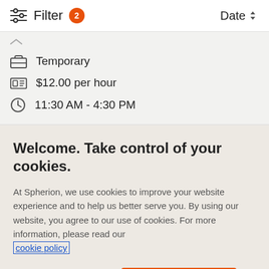Filter 2   Date
Temporary
$12.00 per hour
11:30 AM - 4:30 PM
Welcome. Take control of your cookies.
At Spherion, we use cookies to improve your website experience and to help us better serve you. By using our website, you agree to our use of cookies. For more information, please read our cookie policy
Cookies Settings
Accept Cookies